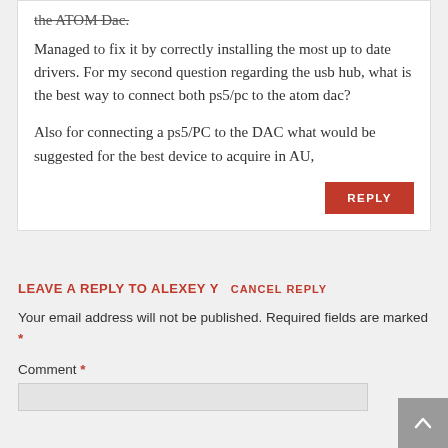the ATOM Dac. [strikethrough]
Managed to fix it by correctly installing the most up to date drivers. For my second question regarding the usb hub, what is the best way to connect both ps5/pc to the atom dac?
Also for connecting a ps5/PC to the DAC what would be suggested for the best device to acquire in AU,
LEAVE A REPLY TO ALEXEY Y   CANCEL REPLY
Your email address will not be published. Required fields are marked *
Comment *